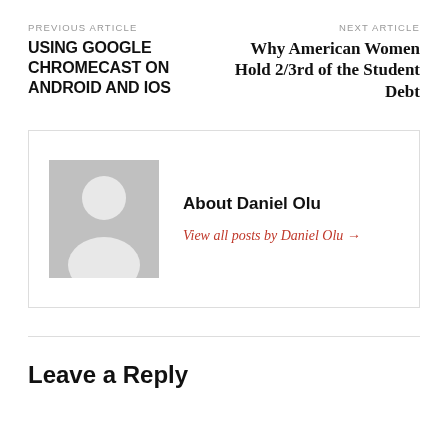PREVIOUS ARTICLE
USING GOOGLE CHROMECAST ON ANDROID AND IOS
NEXT ARTICLE
Why American Women Hold 2/3rd of the Student Debt
[Figure (illustration): Generic user avatar silhouette on grey background]
About Daniel Olu
View all posts by Daniel Olu →
Leave a Reply